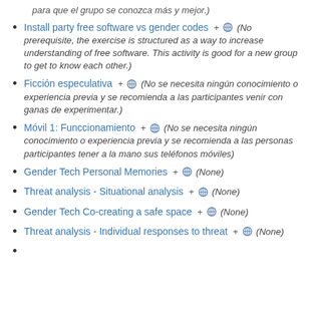para que el grupo se conozca más y mejor.)
Install party free software vs gender codes + ⊕ (No prerequisite, the exercise is structured as a way to increase understanding of free software. This activity is good for a new group to get to know each other.)
Ficción especulativa + ⊕ (No se necesita ningún conocimiento o experiencia previa y se recomienda a las participantes venir con ganas de experimentar.)
Móvil 1: Funccionamiento + ⊕ (No se necesita ningún conocimiento o experiencia previa y se recomienda a las personas participantes tener a la mano sus teléfonos móviles)
Gender Tech Personal Memories + ⊕ (None)
Threat analysis - Situational analysis + ⊕ (None)
Gender Tech Co-creating a safe space + ⊕ (None)
Threat analysis - Individual responses to threat + ⊕ (None)
...